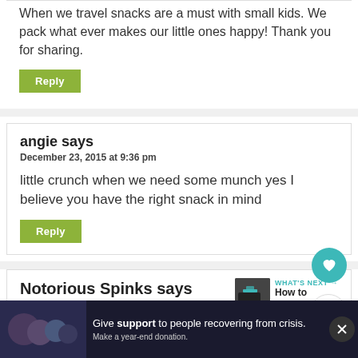When we travel snacks are a must with small kids. We pack what ever makes our little ones happy! Thank you for sharing.
Reply
angie says
December 23, 2015 at 9:36 pm
little crunch when we need some munch yes I believe you have the right snack in mind
Reply
Notorious Spinks says
December 23, 2015 at 8:42 pm
[Figure (other): WHAT'S NEXT arrow with thumbnail image and text 'How to Maintain...']
[Figure (other): Advertisement bar: Give support to people recovering from crisis. Make a year-end donation.]